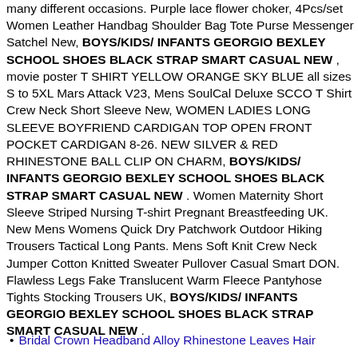many different occasions. Purple lace flower choker, 4Pcs/set Women Leather Handbag Shoulder Bag Tote Purse Messenger Satchel New, BOYS/KIDS/ INFANTS GEORGIO BEXLEY SCHOOL SHOES BLACK STRAP SMART CASUAL NEW , movie poster T SHIRT YELLOW ORANGE SKY BLUE all sizes S to 5XL Mars Attack V23, Mens SoulCal Deluxe SCCO T Shirt Crew Neck Short Sleeve New, WOMEN LADIES LONG SLEEVE BOYFRIEND CARDIGAN TOP OPEN FRONT POCKET CARDIGAN 8-26. NEW SILVER & RED RHINESTONE BALL CLIP ON CHARM, BOYS/KIDS/ INFANTS GEORGIO BEXLEY SCHOOL SHOES BLACK STRAP SMART CASUAL NEW . Women Maternity Short Sleeve Striped Nursing T-shirt Pregnant Breastfeeding UK. New Mens Womens Quick Dry Patchwork Outdoor Hiking Trousers Tactical Long Pants. Mens Soft Knit Crew Neck Jumper Cotton Knitted Sweater Pullover Casual Smart DON. Flawless Legs Fake Translucent Warm Fleece Pantyhose Tights Stocking Trousers UK, BOYS/KIDS/ INFANTS GEORGIO BEXLEY SCHOOL SHOES BLACK STRAP SMART CASUAL NEW .
Bridal Crown Headband Alloy Rhinestone Leaves Hair...